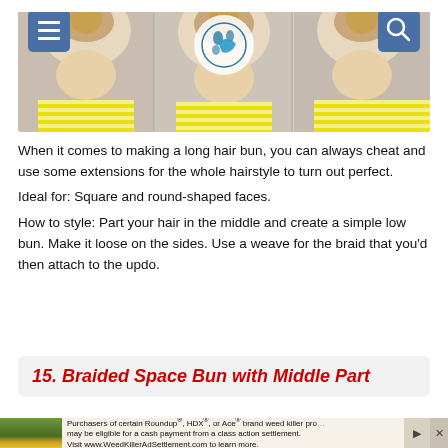Beauty website header with logo, menu, and search buttons
[Figure (photo): Three views of the back of a woman's head with different long hair bun hairstyles, wearing a yellow striped top]
When it comes to making a long hair bun, you can always cheat and use some extensions for the whole hairstyle to turn out perfect. Ideal for: Square and round-shaped faces. How to style: Part your hair in the middle and create a simple low bun. Make it loose on the sides. Use a weave for the braid that you’d then attach to the updo.
15. Braided Space Bun with Middle Part
[Figure (photo): Partial view of hair bun style photo at bottom of page]
Purchasers of certain Roundup®, HDX®, or Ace® brand weed killer products may be eligible for a cash payment from a class action settlement. Visit www.WeedKillerAdSettlement.com to learn more.